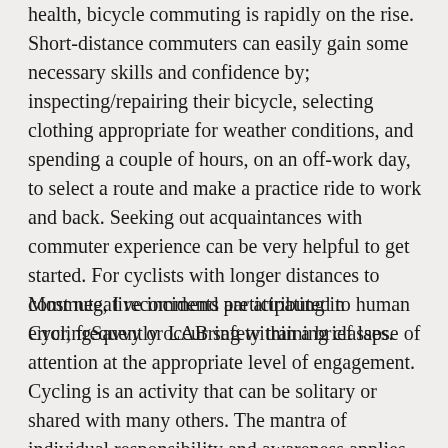health, bicycle commuting is rapidly on the rise. Short-distance commuters can easily gain some necessary skills and confidence by; inspecting/repairing their bicycle, selecting clothing appropriate for weather conditions, and spending a couple of hours, on an off-work day, to select a route and make a practice ride to work and back. Seeking out acquaintances with commuter experience can be very helpful to get started. For cyclists with longer distances to commute, I recommend participating in CyclingSavvy or LAB safety training classes.
Most negative incidents are attributed to human error, frequently occurring within a brief lapse of attention at the appropriate level of engagement. Cycling is an activity that can be solitary or shared with many others. The mantra of individual responsibility and awareness applies not only to you, on your bike, but also to the entire social context of cycling. Calls to raise the